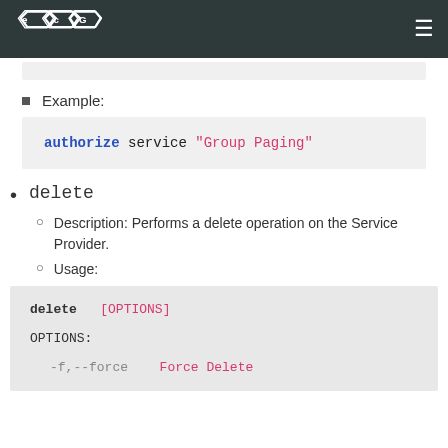ECG logo and navigation
Example:
[Figure (screenshot): Code block showing: authorize service "Group Paging"]
delete
Description: Performs a delete operation on the Service Provider.
Usage:
[Figure (screenshot): Code block showing: delete [OPTIONS]

OPTIONS:
    -f,--force    Force Delete]